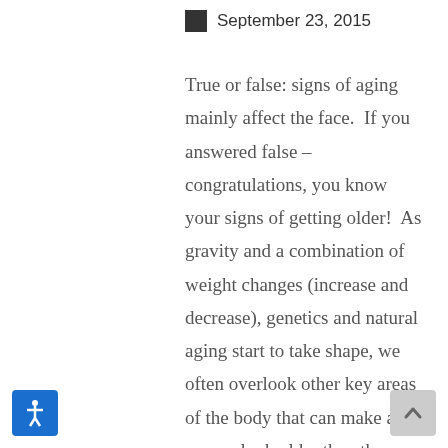September 23, 2015
True or false: signs of aging mainly affect the face.  If you answered false – congratulations, you know your signs of getting older!  As gravity and a combination of weight changes (increase and decrease), genetics and natural aging start to take shape, we often overlook other key areas of the body that can make a person look older than they really are.  In this edition of our Grammy makeover series I want to focus on two